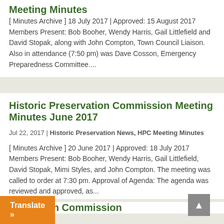Meeting Minutes
[ Minutes Archive ] 18 July 2017 | Approved: 15 August 2017 Members Present: Bob Booher, Wendy Harris, Gail Littlefield and David Stopak, along with John Compton, Town Council Liaison. Also in attendance (7:50 pm) was Dave Cosson, Emergency Preparedness Committee....
Historic Preservation Commission Meeting Minutes June 2017
Jul 22, 2017 | Historic Preservation News, HPC Meeting Minutes
[ Minutes Archive ] 20 June 2017 | Approved: 18 July 2017 Members Present: Bob Booher, Wendy Harris, Gail Littlefield, David Stopak, Mimi Styles, and John Compton. The meeting was called to order at 7:30 pm. Approval of Agenda: The agenda was reviewed and approved, as...
eservation Commission